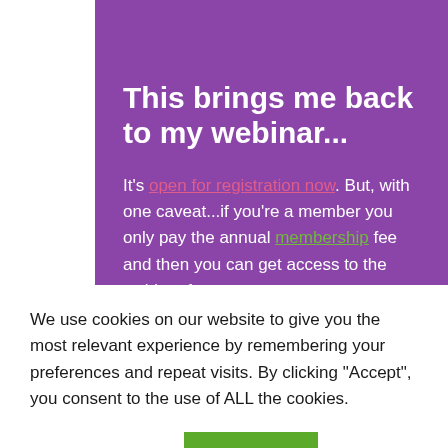This brings me back to my webinar...
It's open for registration now. But, with one caveat...if you're a member you only pay the annual membership fee and then you can get access to the webinar for no
We use cookies on our website to give you the most relevant experience by remembering your preferences and repeat visits. By clicking “Accept”, you consent to the use of ALL the cookies.
Cookie settings
ACCEPT